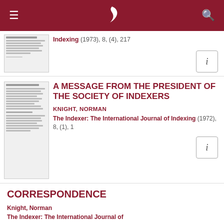Indexing (1973), 8, (4), 217
A MESSAGE FROM THE PRESIDENT OF THE SOCIETY OF INDEXERS
KNIGHT, NORMAN
The Indexer: The International Journal of Indexing (1972), 8, (1), 1
CORRESPONDENCE
Knight, Norman
The Indexer: The International Journal of